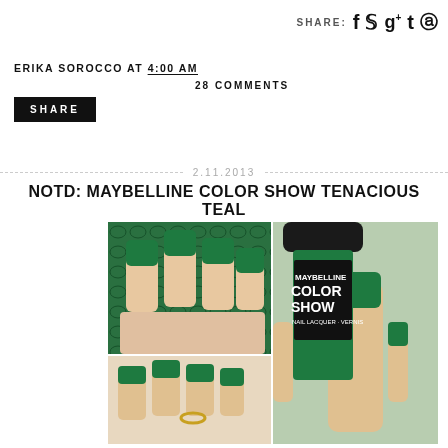SHARE: f t g+ t p
ERIKA SOROCCO AT 4:00 AM
28 COMMENTS
SHARE
2.11.2013
NOTD: MAYBELLINE COLOR SHOW TENACIOUS TEAL
[Figure (photo): Three photos: top-left shows hand with dark green teal nails on snakeskin-patterned background; bottom-left shows close-up of fingers with teal nails and gold ring; right shows hand holding Maybelline Color Show nail lacquer bottle in teal color with teal nails visible]